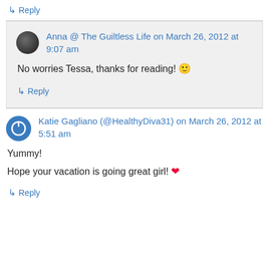↳ Reply
Anna @ The Guiltless Life on March 26, 2012 at 9:07 am
No worries Tessa, thanks for reading! 🙂
↳ Reply
Katie Gagliano (@HealthyDiva31) on March 26, 2012 at 5:51 am
Yummy!
Hope your vacation is going great girl! ❤
↳ Reply